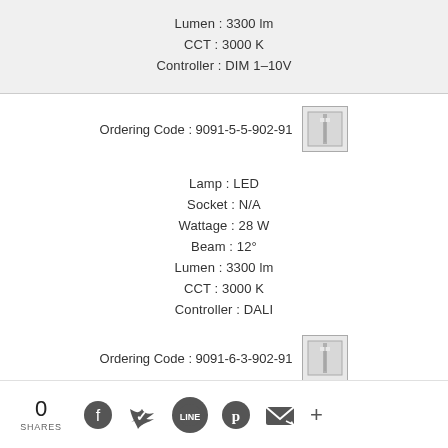Lumen : 3300 lm
CCT : 3000 K
Controller : DIM 1-10V
Ordering Code : 9091-5-5-902-91
[Figure (illustration): Small luminaire product icon thumbnail]
Lamp : LED
Socket : N/A
Wattage : 28 W
Beam : 12°
Lumen : 3300 lm
CCT : 3000 K
Controller : DALI
Ordering Code : 9091-6-3-902-91
[Figure (illustration): Small luminaire product icon thumbnail]
0 SHARES — social share icons: Facebook, Twitter, LINE, Pinterest, Email, More